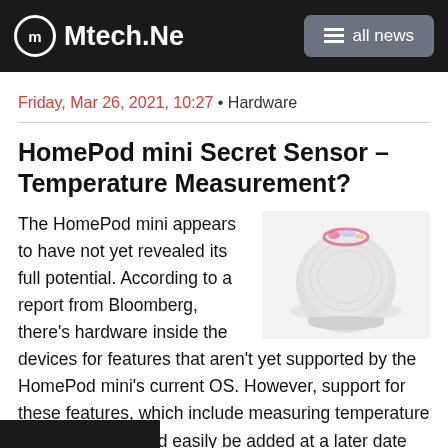Mtech.News  all news
Friday, Mar 26, 2021, 10:27 • Hardware
HomePod mini Secret Sensor – Temperature Measurement?
[Figure (photo): Apple HomePod mini, white spherical smart speaker with colorful light ring on top, on white background]
The HomePod mini appears to have not yet revealed its full potential. According to a report from Bloomberg, there's hardware inside the devices for features that aren't yet supported by the HomePod mini's current OS. However, support for these features, which include measuring temperature and humidity, could easily be added at a later date via a software update. Apple hasn't addressed the rumors and in the smart speaker's support documents